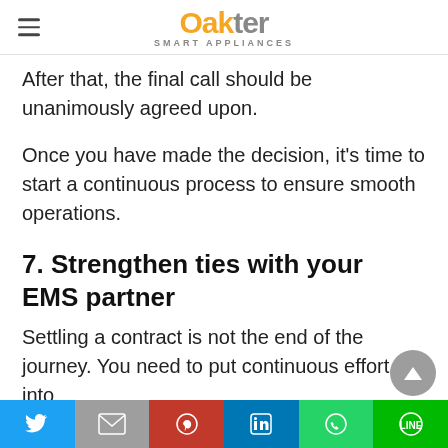Oakter SMART APPLIANCES
After that, the final call should be unanimously agreed upon.
Once you have made the decision, it's time to start a continuous process to ensure smooth operations.
7. Strengthen ties with your EMS partner
Settling a contract is not the end of the journey. You need to put continuous effort into